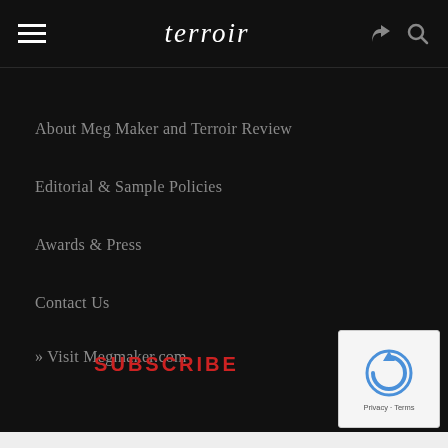terroir
About Meg Maker and Terroir Review
Editorial & Sample Policies
Awards & Press
Contact Us
» Visit Megmaker.com
SUBSCRIBE
[Figure (other): reCAPTCHA widget with circular arrow logo and Privacy - Terms text]